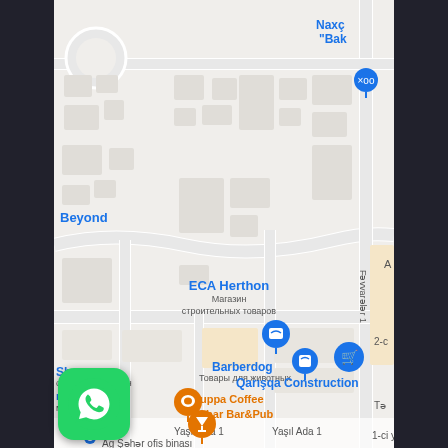[Figure (map): Google Maps screenshot showing a street map of what appears to be Nakhchivan, Azerbaijan. The map shows streets, building footprints, and several labeled locations including: Naxç 'Bak' (top right, partially visible), Beyond (left side), ECA Herthon (center, labeled as Магазин строительных товаров), Showroom / отельный магазин (bottom left), Barberdog / Товары для животных (bottom center), Qarışqa Construction (bottom right), Cuppa Coffee (bottom center-left), Pubar Bar&Pub (bottom center), m - Ag sheher / магазин (bottom left), Yaşıl Ada 1 (bottom street label, twice), 1-ci y (bottom right, partial), 2-c (right side partial), Fəvvarələr 1 (right side, vertical), Tə (bottom right, partial), Ağ Şəhər ofis binası (bottom, partially visible). A blue location pin marker is visible near ECA Herthon. Orange location pins mark Cuppa Coffee and Pubar Bar&Pub. Blue shopping cart markers appear near Barberdog and on right side. A blue dot marker is at bottom left.]